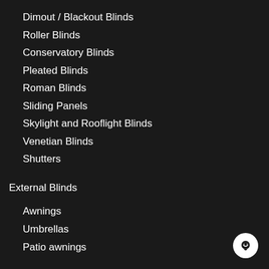Dimout / Blackout Blinds
Roller Blinds
Conservatory Blinds
Pleated Blinds
Roman Blinds
Sliding Panels
Skylight and Rooflight Blinds
Venetian Blinds
Shutters
External Blinds
Awnings
Umbrellas
Patio awnings